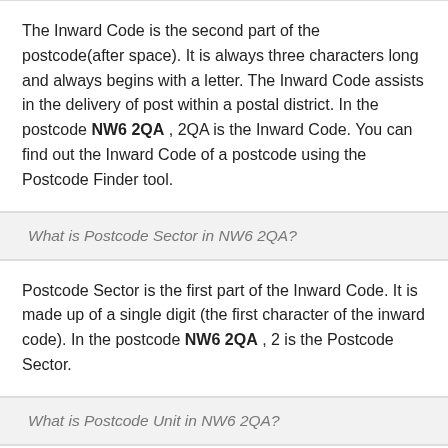The Inward Code is the second part of the postcode(after space). It is always three characters long and always begins with a letter. The Inward Code assists in the delivery of post within a postal district. In the postcode NW6 2QA , 2QA is the Inward Code. You can find out the Inward Code of a postcode using the Postcode Finder tool.
What is Postcode Sector in NW6 2QA?
Postcode Sector is the first part of the Inward Code. It is made up of a single digit (the first character of the inward code). In the postcode NW6 2QA , 2 is the Postcode Sector.
What is Postcode Unit in NW6 2QA?
The Postcode Unit is the second part of the Inward Code. It is the 2 characters added after the postcode sector. Each postcode unit generally represents a street, part of a street, a